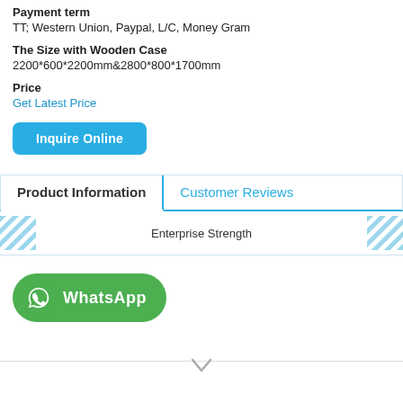Payment term
TT; Western Union, Paypal, L/C, Money Gram
The Size with Wooden Case
2200*600*2200mm&2800*800*1700mm
Price
Get Latest Price
Inquire Online
Product Information
Customer Reviews
Enterprise Strength
[Figure (logo): WhatsApp green button with phone icon and WhatsApp text]